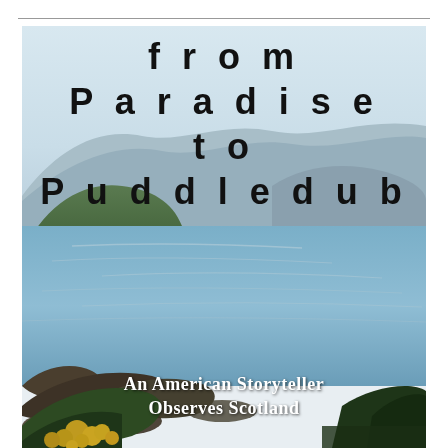from Paradise to Puddledub
[Figure (photo): Scenic Scottish loch landscape with calm blue water reflecting surrounding hills and mountains, green wooded islands, rocky shoreline with yellow gorse bushes in foreground]
An American Storyteller Observes Scotland